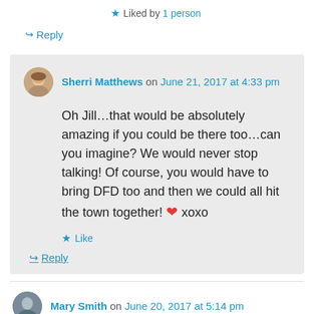★ Liked by 1 person
↳ Reply
Sherri Matthews on June 21, 2017 at 4:33 pm
Oh Jill...that would be absolutely amazing if you could be there too...can you imagine? We would never stop talking! Of course, you would have to bring DFD too and then we could all hit the town together! ❤ xoxo
★ Like
↳ Reply
Mary Smith on June 20, 2017 at 5:14 pm